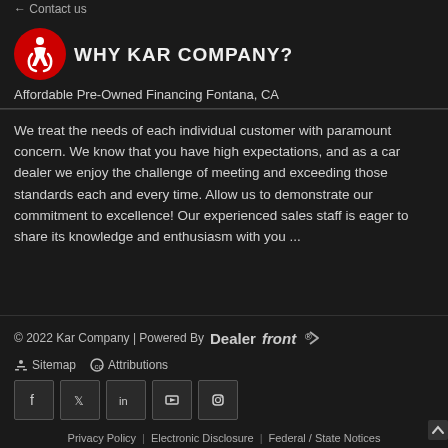Contact us
[Figure (illustration): Accessibility icon — white wheelchair user symbol on red circle background]
WHY KAR COMPANY?
Affordable Pre-Owned Financing Fontana, CA
We treat the needs of each individual customer with paramount concern. We know that you have high expectations, and as a car dealer we enjoy the challenge of meeting and exceeding those standards each and every time. Allow us to demonstrate our commitment to excellence! Our experienced sales staff is eager to share its knowledge and enthusiasm with you ...
© 2022 Kar Company | Powered By Dealerfront | Sitemap | Attributions | Privacy Policy | Electronic Disclosure | Federal / State Notices